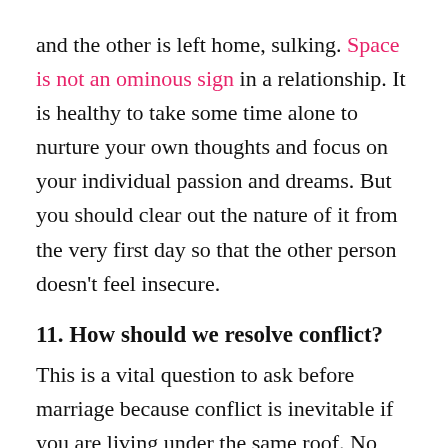and the other is left home, sulking. Space is not an ominous sign in a relationship. It is healthy to take some time alone to nurture your own thoughts and focus on your individual passion and dreams. But you should clear out the nature of it from the very first day so that the other person doesn't feel insecure.
11. How should we resolve conflict?
This is a vital question to ask before marriage because conflict is inevitable if you are living under the same roof. No two people are similar, so conflict is a given. But the most important part is how a couple resolves a conflict. One